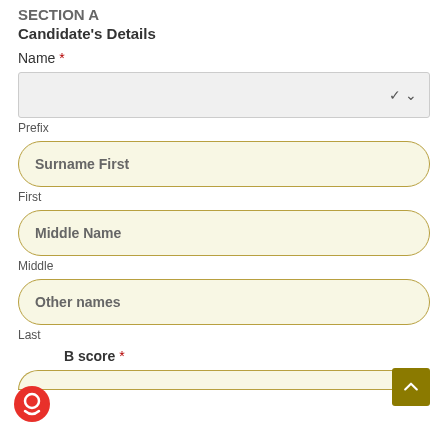SECTION A
Candidate's Details
Name *
Prefix
Surname First
First
Middle Name
Middle
Other names
Last
DOB score *